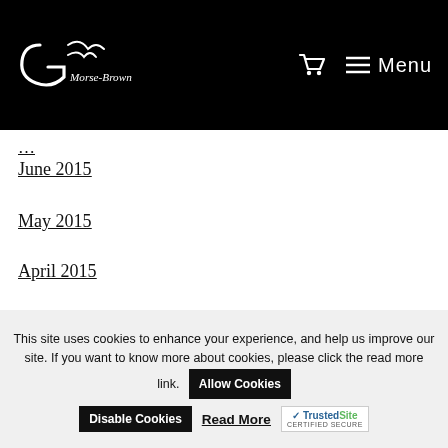Guy Morse-Brown — Menu
June 2015
May 2015
April 2015
March 2015
Search
This site uses cookies to enhance your experience, and help us improve our site. If you want to know more about cookies, please click the read more link.
Allow Cookies
Disable Cookies
Read More
TrustedSite CERTIFIED SECURE